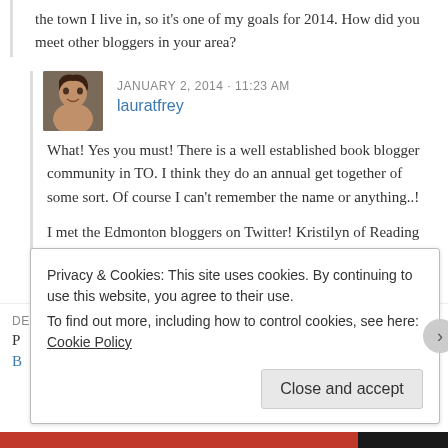the town I live in, so it's one of my goals for 2014. How did you meet other bloggers in your area?
JANUARY 2, 2014 - 11:23 AM
lauratfrey
What! Yes you must! There is a well established book blogger community in TO. I think they do an annual get together of some sort. Of course I can't remember the name or anything..!

I met the Edmonton bloggers on Twitter! Kristilyn of Reading in Winter was a organizer, we did our first get together in summer 2012 and have been going pretty strong since!
DECEMBER 31, 2013 - 3:28 PM
Privacy & Cookies: This site uses cookies. By continuing to use this website, you agree to their use.
To find out more, including how to control cookies, see here: Cookie Policy
Close and accept